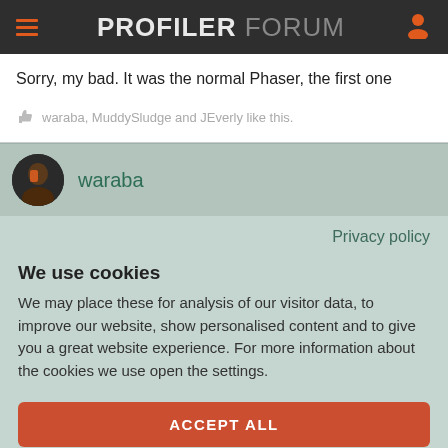PROFILER FORUM
Sorry, my bad. It was the normal Phaser, the first one
waraba, MuddySludge and JEverly like this.
waraba
Privacy policy
We use cookies
We may place these for analysis of our visitor data, to improve our website, show personalised content and to give you a great website experience. For more information about the cookies we use open the settings.
ACCEPT ALL
DENY
NO, ADJUST